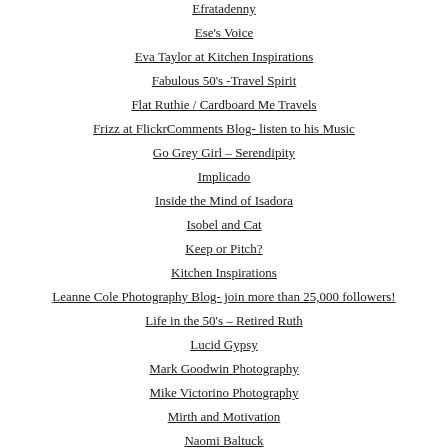Efratadenny
Ese's Voice
Eva Taylor at Kitchen Inspirations
Fabulous 50's -Travel Spirit
Flat Ruthie / Cardboard Me Travels
Frizz at FlickrComments Blog- listen to his Music
Go Grey Girl – Serendipity
Implicado
Inside the Mind of Isadora
Isobel and Cat
Keep or Pitch?
Kitchen Inspirations
Leanne Cole Photography Blog- join more than 25,000 followers!
Life in the 50's – Retired Ruth
Lucid Gypsy
Mark Goodwin Photography
Mike Victorino Photography
Mirth and Motivation
Naomi Baltuck